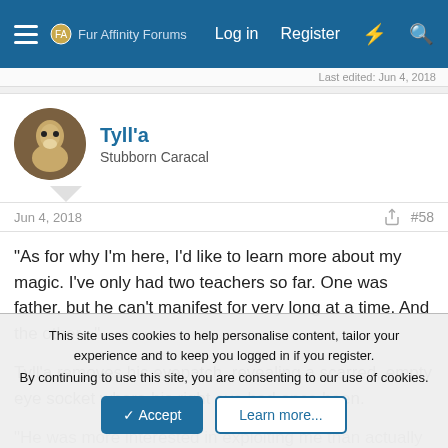Fur Affinity Forums  Log in  Register
Last edited: Jun 4, 2018
Tyll'a
Stubborn Caracal
Jun 4, 2018  #58
"As for why I'm here, I'd like to learn more about my magic. I've only had two teachers so far. One was father, but he can't manifest for very long at a time. And the other..."

Tyll'a removes his eyepatch, revealing a scarred, empty eye socket where his right eye had once been.

"He was more interested in exploiting me than actually teaching
This site uses cookies to help personalise content, tailor your experience and to keep you logged in if you register.
By continuing to use this site, you are consenting to our use of cookies.
[Accept]  [Learn more...]